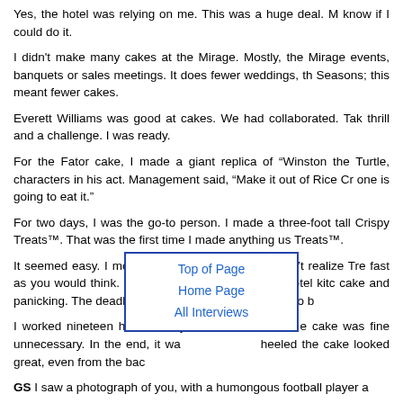Yes, the hotel was relying on me. This was a huge deal. M know if I could do it.
I didn't make many cakes at the Mirage. Mostly, the Mirage events, banquets or sales meetings. It does fewer weddings, th Seasons; this meant fewer cakes.
Everett Williams was good at cakes. We had collaborated. Tak thrill and a challenge. I was ready.
For the Fator cake, I made a giant replica of “Winston the Turtle, characters in his act. Management said, “Make it out of Rice Cr one is going to eat it.”
For two days, I was the go-to person. I made a three-foot tall Crispy Treats™. That was the first time I made anything us Treats™.
It seemed easy. I molded the Treats together. I didn’t realize Tre fast as you would think. I sat a freezer, in the Mirage Hotel kitc cake and panicking. The deadline was nearing. The cake had to b
[Figure (other): Navigation box with links: Top of Page, Home Page, All Interviews]
I worked nineteen hours a day, ... cake was fine unnecessary. In the end, it was ... heeled the cake looked great, even from the bac...
GS I saw a photograph of you, with a humongous football player a